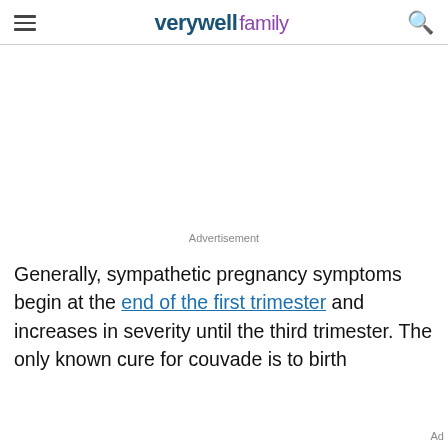verywell family
Advertisement
Generally, sympathetic pregnancy symptoms begin at the end of the first trimester and increases in severity until the third trimester. The only known cure for couvade is to birth